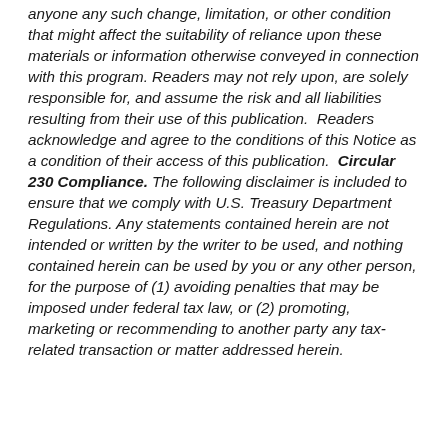anyone any such change, limitation, or other condition that might affect the suitability of reliance upon these materials or information otherwise conveyed in connection with this program. Readers may not rely upon, are solely responsible for, and assume the risk and all liabilities resulting from their use of this publication. Readers acknowledge and agree to the conditions of this Notice as a condition of their access of this publication. Circular 230 Compliance. The following disclaimer is included to ensure that we comply with U.S. Treasury Department Regulations. Any statements contained herein are not intended or written by the writer to be used, and nothing contained herein can be used by you or any other person, for the purpose of (1) avoiding penalties that may be imposed under federal tax law, or (2) promoting, marketing or recommending to another party any tax-related transaction or matter addressed herein.